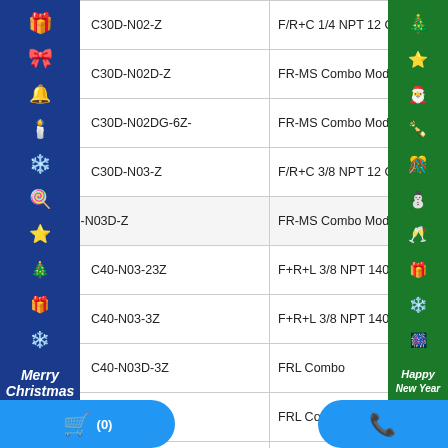[Figure (illustration): Blue Christmas decoration overlay on left side with holiday symbols and 'Merry Christmas' text]
[Figure (illustration): Green Christmas/New Year decoration overlay on right side with holiday symbols and 'Happy New Year' text]
| Model | Description |
| --- | --- |
| C30D-N02-Z | F/R+C 1/4 NPT 12 C... |
| C30D-N02D-Z | FR-MS Combo Modu... |
| C30D-N02DG-6Z- | FR-MS Combo Modu... |
| C30D-N03-Z | F/R+C 3/8 NPT 12 C... |
| SMC: AC30D-N03D-Z | FR-MS Combo Modular |
| C40-N03-23Z | F+R+L 3/8 NPT 140 C... |
| C40-N03-3Z | F+R+L 3/8 NPT 140 C... |
| C40-N03D-3Z | FRL Combo |
| C40-N04-2Z | FRL Combo |
| C40-N04-3Z | FRL Combo |
| C40-N04CG-2RZ | FRL Combo Modula... |
TECHNICAL SUPPORT
SALE SUPPORT
MR. NHÂN
0935 041313
sales@greentechvn.com
[Figure (logo): GRT Greentech logo left]
[Figure (logo): GRT Greentech logo right]
[Figure (illustration): Shopping cart button (0)]
[Figure (illustration): Phone call button]